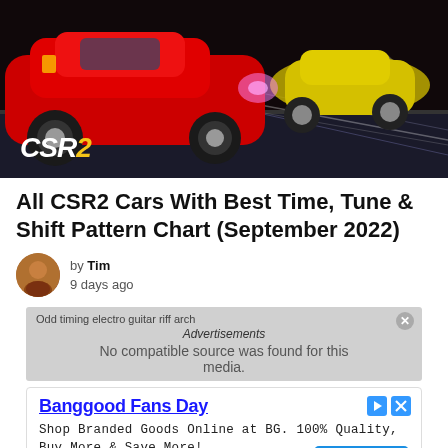[Figure (photo): CSR2 mobile racing game hero image showing a red Ferrari and yellow sports car racing on a dark track, with CSR2 logo in bottom left]
All CSR2 Cars With Best Time, Tune & Shift Pattern Chart (September 2022)
by Tim
9 days ago
Advertisements
No compatible source was found for this media.
Banggood Fans Day
Shop Branded Goods Online at BG. 100% Quality, Buy More & Save More!
Banggood.com
See More